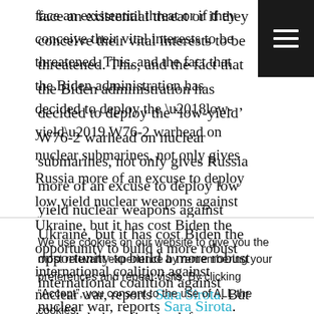face an existential threat or if they conceive their vital interests to be threatened. This, and the fact that the Biden administration has decided to deploy the ‘low-yield’ W76-2 warhead on nuclear submarines, not only gives Russia more of an excuse to deploy low yield nuclear weapons against Ukraine, but it has cost Biden the opportunity to build a more robust international coalition against nuclear war, reports Sara Sirota. But it certainly benefits the defence industry.
We use cookies on our website to give you the most relevant experience by remembering your preferences and repeat visits. By clicking “Accept”, you consent to the use of ALL the cookies.
ACCEPT